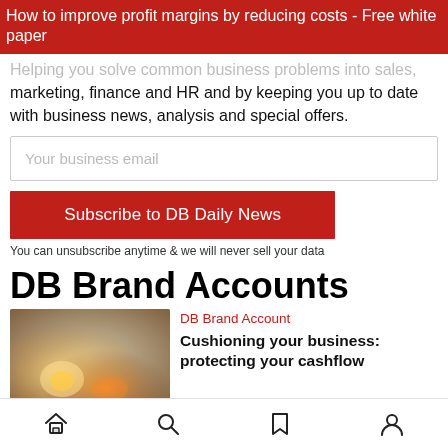How to improve profit margins by reducing costs - Free white paper
Helping you solve common business problems into sales, marketing, finance and HR and by keeping you up to date with business news, analysis and special offers.
Your business email
Subscribe to DB Daily News
You can unsubscribe anytime & we will never sell your data
DB Brand Accounts
[Figure (photo): A close-up photo with warm glowing light, resembling a light bulb or flame with bokeh background]
DB Brand Account
Cushioning your business: protecting your cashflow